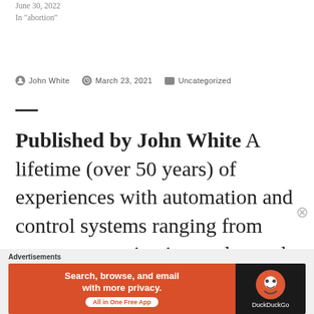June 30, 2022
In "abortion"
John White   March 23, 2021   Uncategorized
Published by John White A lifetime (over 50 years) of experiences with automation and control systems ranging from aerospace navigation, radar, and
Advertisements
Search, browse, and email with more privacy. All in One Free App  DuckDuckGo